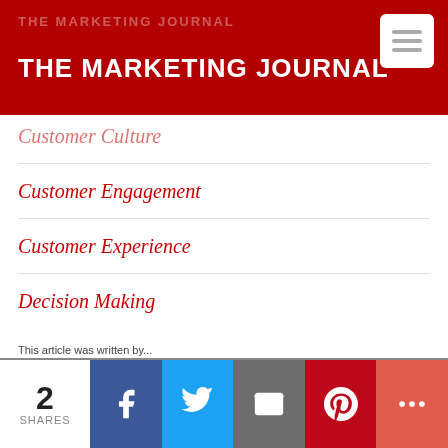THE MARKETING JOURNAL
Customer Culture
Customer Engagement
Customer Experience
Decision Making
Design
Digital Marketing
Ecosystems & Platforms
Innovation
Internet of Things
2 SHARES